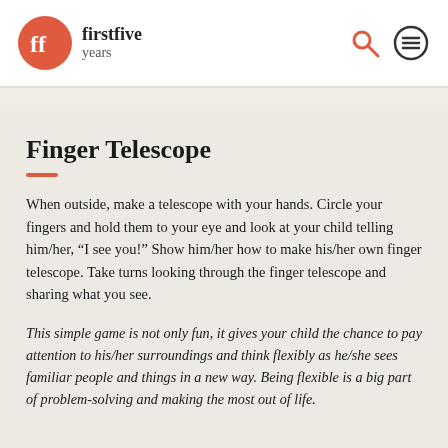firstfive years
Finger Telescope
When outside, make a telescope with your hands. Circle your fingers and hold them to your eye and look at your child telling him/her, “I see you!” Show him/her how to make his/her own finger telescope. Take turns looking through the finger telescope and sharing what you see.
This simple game is not only fun, it gives your child the chance to pay attention to his/her surroundings and think flexibly as he/she sees familiar people and things in a new way. Being flexible is a big part of problem-solving and making the most out of life.